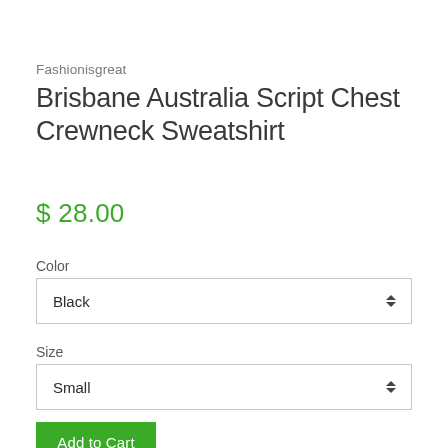Fashionisgreat
Brisbane Australia Script Chest Crewneck Sweatshirt
$ 28.00
Color
Black
Size
Small
Add to Cart